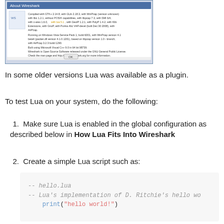[Figure (screenshot): Screenshot of a Wireshark about dialog showing version and build information with an OK button]
In some older versions Lua was available as a plugin.
To test Lua on your system, do the following:
1. Make sure Lua is enabled in the global configuration as described below in How Lua Fits Into Wireshark
2. Create a simple Lua script such as:
-- hello.lua
-- Lua's implementation of D. Ritchie's hello wo
    print("hello world!")